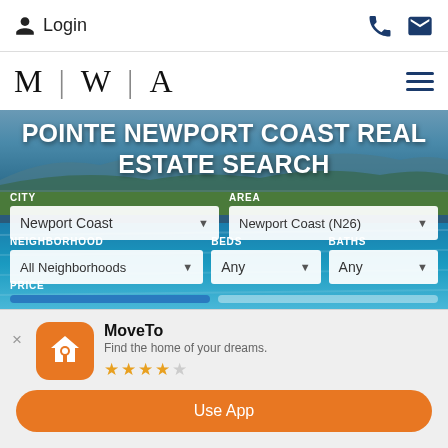Login
[Figure (logo): M | W | A logo with hamburger menu icon]
POINTE NEWPORT COAST REAL ESTATE SEARCH
CITY: Newport Coast | AREA: Newport Coast (N26) | NEIGHBORHOOD: All Neighborhoods | BEDS: Any | BATHS: Any | PRICE
[Figure (screenshot): MoveTo app install banner with orange house/search icon, 4-star rating, and Use App button]